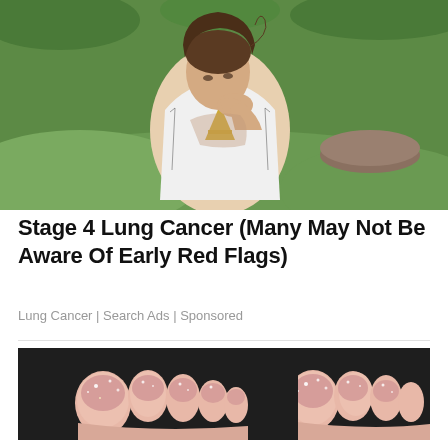[Figure (photo): Young woman in white athletic vest bending forward, holding her throat/chest area, appearing to be in distress. Green grass background.]
Stage 4 Lung Cancer (Many May Not Be Aware Of Early Red Flags)
Lung Cancer | Search Ads | Sponsored
[Figure (photo): Close-up of toes/feet with glittery pink nail polish on a dark background.]